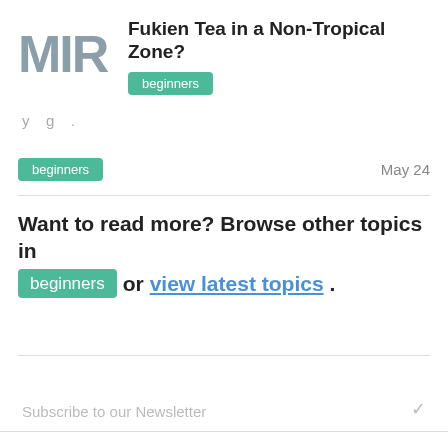[Figure (logo): MIRAI logo in grey block letters]
Fukien Tea in a Non-Tropical Zone?
beginners
y g .
beginners
May 24
Want to read more? Browse other topics in beginners or view latest topics.
Subscribe to our Newsletter